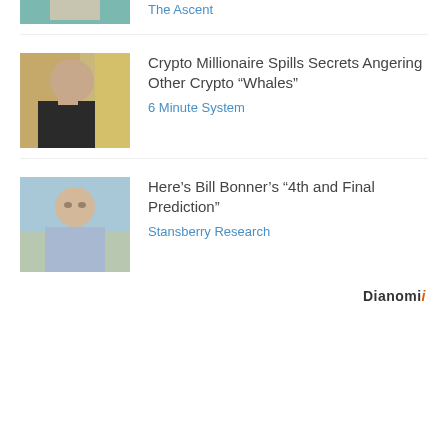[Figure (photo): Partial thumbnail image at top, cropped]
The Ascent
[Figure (photo): Man with hand on face, bald, sitting indoors]
Crypto Millionaire Spills Secrets Angering Other Crypto “Whales”
6 Minute System
[Figure (photo): Older man in light blue shirt, outdoors background]
Here’s Bill Bonner’s “4th and Final Prediction”
Stansberry Research
Dianomi